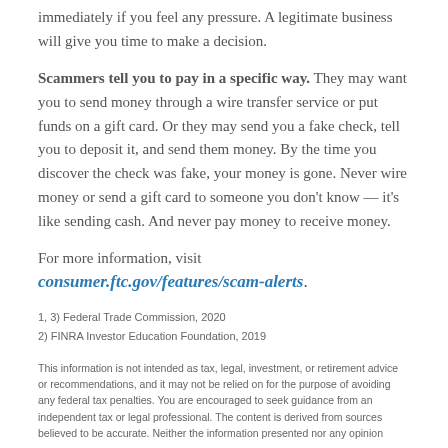immediately if you feel any pressure. A legitimate business will give you time to make a decision.
Scammers tell you to pay in a specific way. They may want you to send money through a wire transfer service or put funds on a gift card. Or they may send you a fake check, tell you to deposit it, and send them money. By the time you discover the check was fake, your money is gone. Never wire money or send a gift card to someone you don't know — it's like sending cash. And never pay money to receive money.
For more information, visit consumer.ftc.gov/features/scam-alerts.
1, 3) Federal Trade Commission, 2020
2) FINRA Investor Education Foundation, 2019
This information is not intended as tax, legal, investment, or retirement advice or recommendations, and it may not be relied on for the purpose of avoiding any federal tax penalties. You are encouraged to seek guidance from an independent tax or legal professional. The content is derived from sources believed to be accurate. Neither the information presented nor any opinion